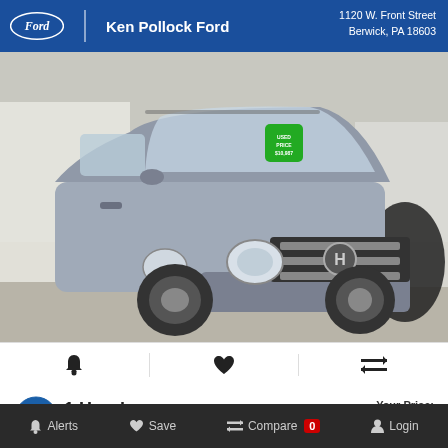Ken Pollock Ford | 1120 W. Front Street, Berwick, PA 18603
[Figure (photo): Silver Honda CR-V SUV parked inside a dealership showroom. The vehicle faces toward the viewer at a slight angle. There is a green price sticker on the windshield. The dealership interior shows concrete floors, shelving in the background, and a dark fabric cover partially draped over another vehicle on the right.]
🔔 ♥ ⇔
2011 Honda CR-V EX
Your Price: $10,987
Alerts  Save  Compare 0  Login